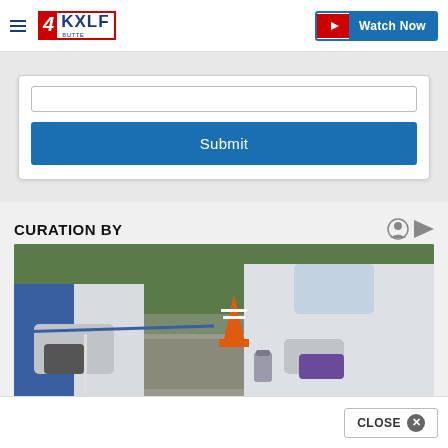4KXLF BUTTE — Watch Now
[Figure (screenshot): Submit form with input field and blue Submit button inside a white card]
CURATION BY
[Figure (photo): Two people in white hazmat suits and gloves performing a COVID-19 swab test at a drive-through testing site. An orange traffic cone is visible in the background.]
[Figure (screenshot): Close button overlay at bottom right of page with X icon]